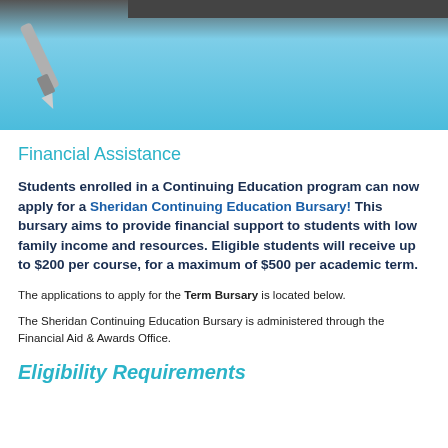[Figure (photo): Light blue background with a pen visible in the upper left corner, dark bar at top right]
Financial Assistance
Students enrolled in a Continuing Education program can now apply for a Sheridan Continuing Education Bursary! This bursary aims to provide financial support to students with low family income and resources. Eligible students will receive up to $200 per course, for a maximum of $500 per academic term.
The applications to apply for the Term Bursary is located below.
The Sheridan Continuing Education Bursary is administered through the Financial Aid & Awards Office.
Eligibility Requirements